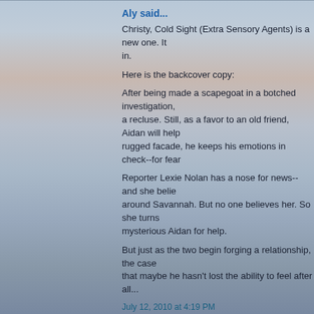Aly said...
Christy, Cold Sight (Extra Sensory Agents) is a new one. It in.
Here is the backcover copy:
After being made a scapegoat in a botched investigation, a recluse. Still, as a favor to an old friend, Aidan will help rugged facade, he keeps his emotions in check--for fear
Reporter Lexie Nolan has a nose for news--and she belie around Savannah. But no one believes her. So she turns mysterious Aidan for help.
But just as the two begin forging a relationship, the case that maybe he hasn't lost the ability to feel after all...
July 12, 2010 at 4:19 PM
Linda said.